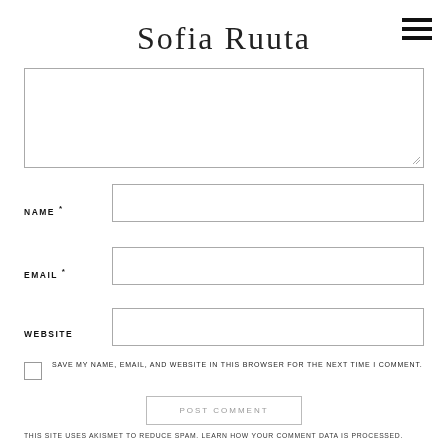Sofia Ruutu
[Figure (screenshot): Textarea form field (comment input box)]
NAME *
[Figure (screenshot): Name input field]
EMAIL *
[Figure (screenshot): Email input field]
WEBSITE
[Figure (screenshot): Website input field]
SAVE MY NAME, EMAIL, AND WEBSITE IN THIS BROWSER FOR THE NEXT TIME I COMMENT.
POST COMMENT
THIS SITE USES AKISMET TO REDUCE SPAM. LEARN HOW YOUR COMMENT DATA IS PROCESSED.